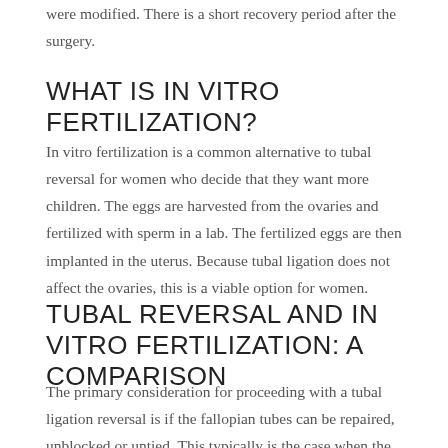were modified. There is a short recovery period after the surgery.
WHAT IS IN VITRO FERTILIZATION?
In vitro fertilization is a common alternative to tubal reversal for women who decide that they want more children. The eggs are harvested from the ovaries and fertilized with sperm in a lab. The fertilized eggs are then implanted in the uterus. Because tubal ligation does not affect the ovaries, this is a viable option for women.
TUBAL REVERSAL AND IN VITRO FERTILIZATION: A COMPARISON
The primary consideration for proceeding with a tubal ligation reversal is if the fallopian tubes can be repaired, unblocked or untied. This typically is the case when the tubes have not been significantly shortened or